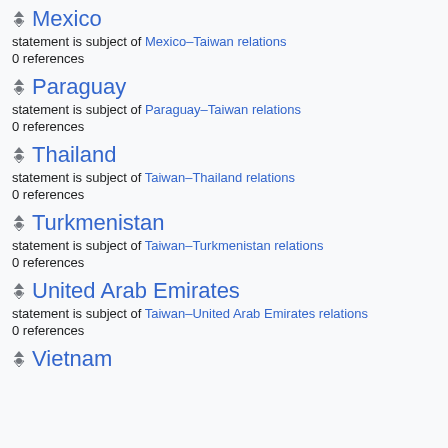Mexico
statement is subject of Mexico–Taiwan relations
0 references
Paraguay
statement is subject of Paraguay–Taiwan relations
0 references
Thailand
statement is subject of Taiwan–Thailand relations
0 references
Turkmenistan
statement is subject of Taiwan–Turkmenistan relations
0 references
United Arab Emirates
statement is subject of Taiwan–United Arab Emirates relations
0 references
Vietnam